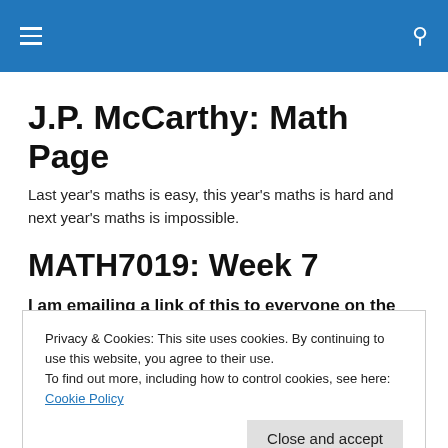J.P. McCarthy: Math Page — navigation bar
J.P. McCarthy: Math Page
Last year's maths is easy, this year's maths is hard and next year's maths is impossible.
MATH7019: Week 7
I am emailing a link of this to everyone on the class
Privacy & Cookies: This site uses cookies. By continuing to use this website, you agree to their use.
To find out more, including how to control cookies, see here: Cookie Policy
Close and accept
Course Notes